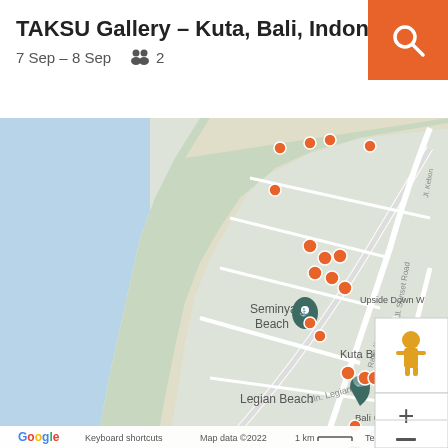TAKSU Gallery – Kuta, Bali, Indonesia
7 Sep – 8 Sep   2
[Figure (map): Google Maps screenshot showing Kuta, Bali, Indonesia coastal area with markers for Seminyak Beach, Legian Beach, Kuta Beach, Waterbom Bali, Bali Galeria Kuta, Pantai Jerman, Saint Francis Xavier Catholic Church, The Keranjang Bali, multiple orange accommodation pins along the coast. Map controls visible on right side. Google logo and map attribution at bottom.]